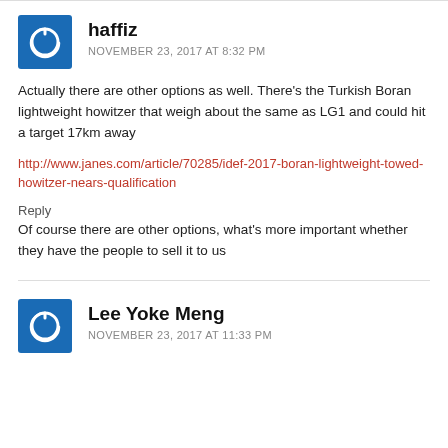[Figure (illustration): Blue square avatar icon with white power/refresh symbol for user haffiz]
haffiz
NOVEMBER 23, 2017 AT 8:32 PM
Actually there are other options as well. There’s the Turkish Boran lightweight howitzer that weigh about the same as LG1 and could hit a target 17km away
http://www.janes.com/article/70285/idef-2017-boran-lightweight-towed-howitzer-nears-qualification
Reply
Of course there are other options, what’s more important whether they have the people to sell it to us
[Figure (illustration): Blue square avatar icon with white power/refresh symbol for user Lee Yoke Meng]
Lee Yoke Meng
NOVEMBER 23, 2017 AT 11:33 PM